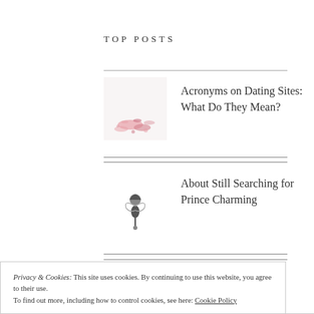TOP POSTS
[Figure (photo): Small thumbnail of pink flowers/petals on white background]
Acronyms on Dating Sites: What Do They Mean?
[Figure (illustration): Small thumbnail of a fairy or sprite illustration in black and white]
About Still Searching for Prince Charming
Privacy & Cookies: This site uses cookies. By continuing to use this website, you agree to their use.
To find out more, including how to control cookies, see here: Cookie Policy
Accept and Close
[Figure (photo): Small thumbnail of a cityscape or landscape photo]
New City, New Start